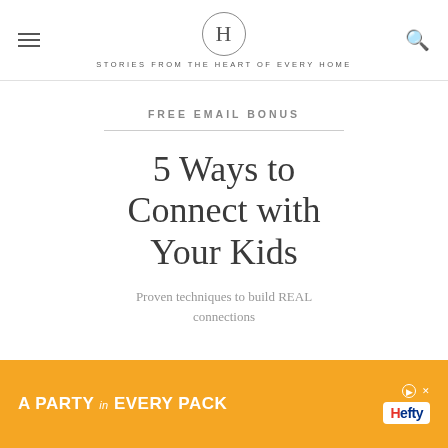H — STORIES FROM THE HEART OF EVERY HOME
FREE EMAIL BONUS
5 Ways to Connect with Your Kids
Proven techniques to build REAL connections
[Figure (infographic): Advertisement banner: orange background with text 'A PARTY in EVERY PACK' and Hefty logo]